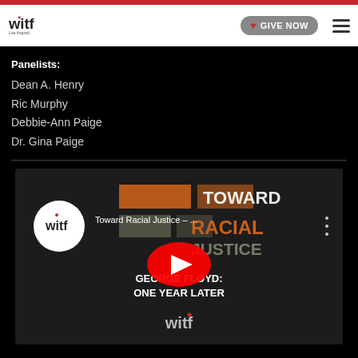witf - Live Inspired | GIVE NOW
Panelists:
Dean A. Henry
Ric Murphy
Debbie-Ann Paige
Dr. Gina Paige
[Figure (screenshot): YouTube video embed thumbnail for 'Toward Racial Justice –...' showing witf logo, orange/gray graphic blocks with TOWARD RACIAL JUSTICE text, GEORGE FLOYD: ONE YEAR LATER subtitle, witf watermark, and YouTube play button overlay]